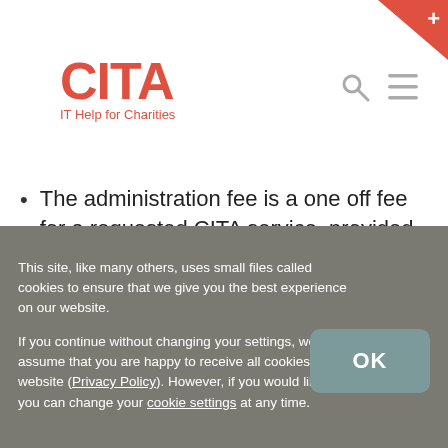CITA IT Help for Charities
The administration fee is a one off fee for a requested CITA service, provided through a volunteer (an ‘assignment’). It is not payable on a per volunteer, per meeting or per day basis.
The administration fee is solely to cover CITA administration costs to match your assignment to a volunteer. The volunteers registered with CITA provide their services on a pro bono basis, i.e. free of charge.
This site, like many others, uses small files called cookies to ensure that we give you the best experience on our website.

If you continue without changing your settings, we’ll assume that you are happy to receive all cookies on this website (Privacy Policy). However, if you would like to, you can change your cookie settings at any time.